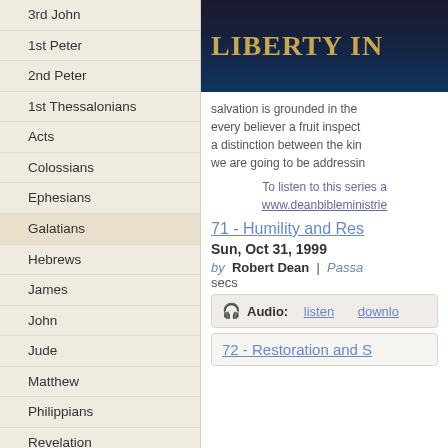3rd John
1st Peter
2nd Peter
1st Thessalonians
Acts
Colossians
Ephesians
Galatians
Hebrews
James
John
Jude
Matthew
Philippians
Revelation
Romans
Doctrines & Topics
Israel Studies
Conferences
[Figure (screenshot): Dark blue banner image with gold text reading 'LIBERTY IN']
salvation is grounded in the every believer a fruit inspect a distinction between the kin we are going to be addressin
To listen to this series a www.deanbibleministrie
71 - Humility and Res
Sun, Oct 31, 1999
by  Robert Dean | Passage secs
Audio: listen  download
72 - Restoration and S